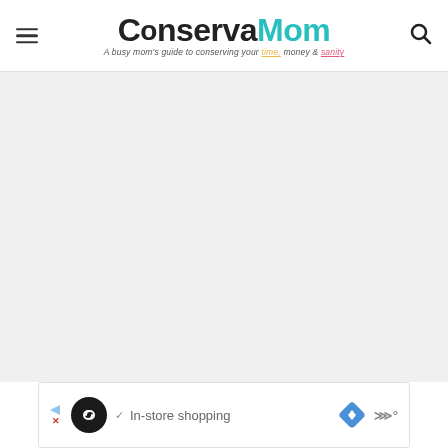ConservaMom - A busy mom's guide to conserving your time, money & sanity
[Figure (screenshot): Large light gray placeholder content area below the header]
[Figure (screenshot): Advertisement bar at the bottom showing In-store shopping with navigation icons]